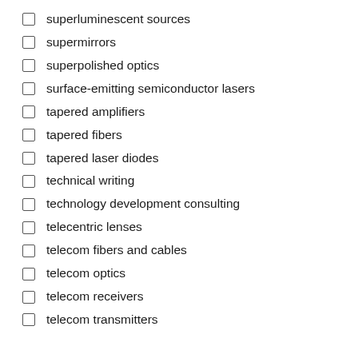superluminescent sources
supermirrors
superpolished optics
surface-emitting semiconductor lasers
tapered amplifiers
tapered fibers
tapered laser diodes
technical writing
technology development consulting
telecentric lenses
telecom fibers and cables
telecom optics
telecom receivers
telecom transmitters